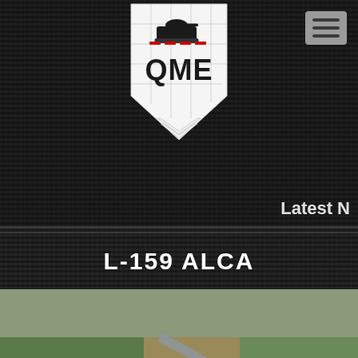[Figure (logo): QME logo — shield shape with tank silhouette and red dashes above the text QME, with chevron/arrow details below]
[Figure (screenshot): Hamburger menu button (three horizontal lines) in gray rounded rectangle, top-right corner]
Latest N
L-159 ALCA
[Figure (photo): L-159 ALCA light combat aircraft in flight, gray livery, number 6066, flying over agricultural landscape with fields and a river visible below]
OWNED BY